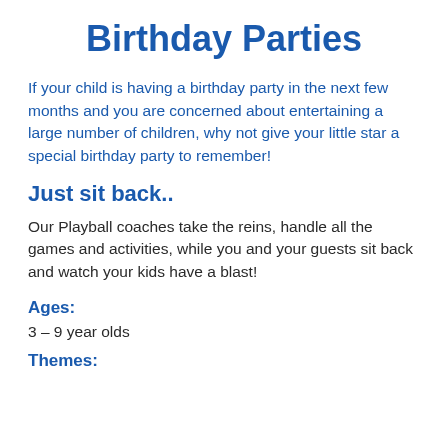Birthday Parties
If your child is having a birthday party in the next few months and you are concerned about entertaining a large number of children, why not give your little star a special birthday party to remember!
Just sit back..
Our Playball coaches take the reins, handle all the games and activities, while you and your guests sit back and watch your kids have a blast!
Ages:
3 – 9 year olds
Themes: